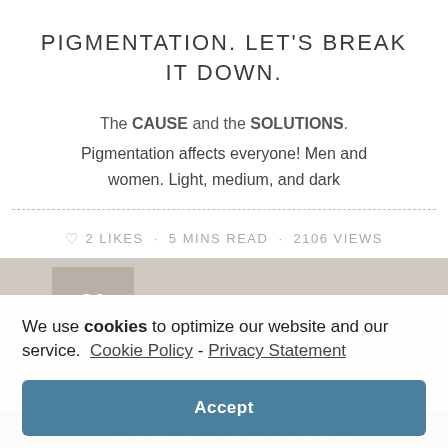PIGMENTATION. LET'S BREAK IT DOWN.
The CAUSE and the SOLUTIONS.
Pigmentation affects everyone! Men and women. Light, medium, and dark
♡  2 LIKES  ·  5 MINS READ  ·  2106 VIEWS
[Figure (photo): Background image of a person's face, partially visible, overlaid by a cookie consent banner]
We use cookies to optimize our website and our service.  Cookie Policy - Privacy Statement
Accept
Free shipping for billing over $75.00